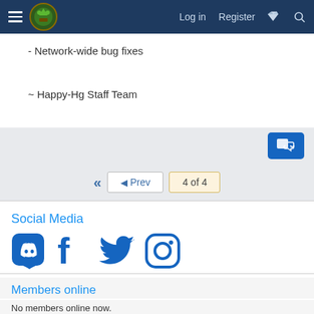Log in  Register
- Network-wide bug fixes
~ Happy-Hg Staff Team
Social Media
[Figure (illustration): Social media icons: Discord, Facebook, Twitter, Instagram]
Members online
No members online now.